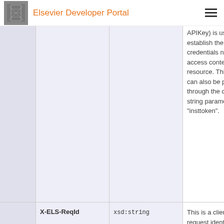Elsevier Developer Portal
|  | Name | Type | Description |
| --- | --- | --- | --- |
|  |  |  | APIKey) is used to establish the credentials needed to access content in this resource. This token can also be provided through the query string parameter "insttoken". |
|  | X-ELS-ReqId | xsd:string | This is a client-defined request identifier, which will be logged in all |